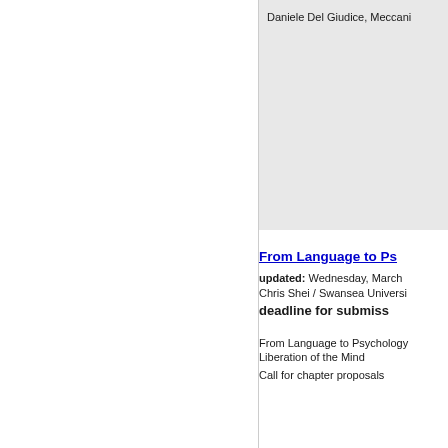Daniele Del Giudice, Meccani
From Language to Ps
updated: Wednesday, March
Chris Shei / Swansea Universi
deadline for submiss
From Language to Psychology
Liberation of the Mind
Call for chapter proposals